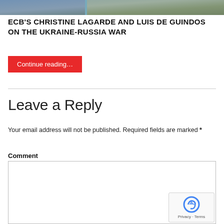[Figure (photo): Landscape/sky photo banner at top of page]
ECB'S CHRISTINE LAGARDE AND LUIS DE GUINDOS ON THE UKRAINE-RUSSIA WAR
Continue reading…
Leave a Reply
Your email address will not be published. Required fields are marked *
Comment
[Figure (other): reCAPTCHA badge with Privacy and Terms text]